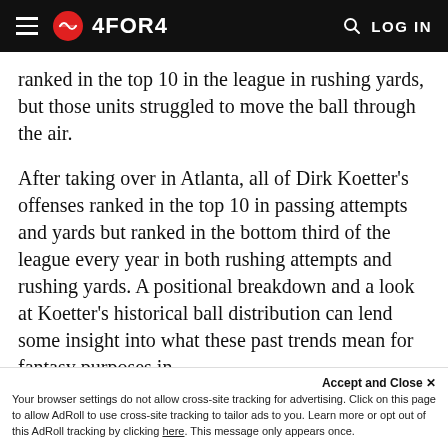4FOR4 — LOG IN
ranked in the top 10 in the league in rushing yards, but those units struggled to move the ball through the air.
After taking over in Atlanta, all of Dirk Koetter's offenses ranked in the top 10 in passing attempts and yards but ranked in the bottom third of the league every year in both rushing attempts and rushing yards. A positional breakdown and a look at Koetter's historical ball distribution can lend some insight into what these past trends mean for fantasy purposes in
Accept and Close ×
Your browser settings do not allow cross-site tracking for advertising. Click on this page to allow AdRoll to use cross-site tracking to tailor ads to you. Learn more or opt out of this AdRoll tracking by clicking here. This message only appears once.